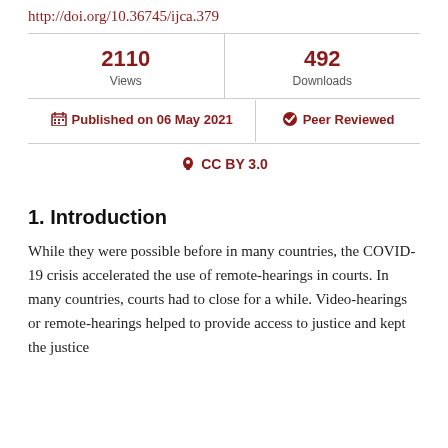http://doi.org/10.36745/ijca.379
| Views | Downloads |
| --- | --- |
| 2110 | 492 |
Published on 06 May 2021   Peer Reviewed
CC BY 3.0
1. Introduction
While they were possible before in many countries, the COVID-19 crisis accelerated the use of remote-hearings in courts. In many countries, courts had to close for a while. Video-hearings or remote-hearings helped to provide access to justice and kept the justice